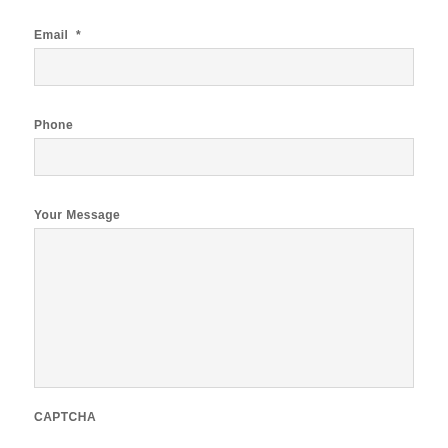Email *
[Figure (screenshot): Empty email input field]
Phone
[Figure (screenshot): Empty phone input field]
Your Message
[Figure (screenshot): Large empty textarea for message]
CAPTCHA